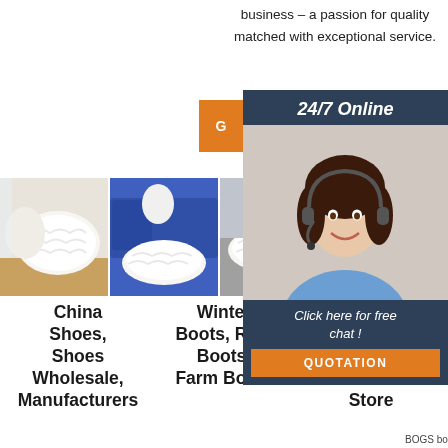business – a passion for quality matched with exceptional service.
[Figure (illustration): 24/7 Online chat widget with agent photo, orange G button, 'Click here for free chat!' text, and QUOTATION orange button]
[Figure (photo): White fluffy sheepskin cushions on wooden surface]
[Figure (photo): White fluffy sheepskin rug on blue sofa with cushions]
[Figure (photo): White fluffy sheepskin or similar product on grey surface]
China Shoes, Shoes Wholesale, Manufacturers
Winter Boots, Rain Boots, Farm Boots
Ugg Australia® Official Online Store
BOGS boots for